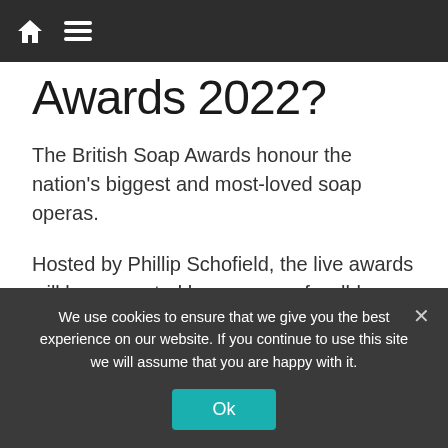Navigation bar with home and menu icons
Awards 2022?
The British Soap Awards honour the nation's biggest and most-loved soap operas.
Hosted by Phillip Schofield, the live awards will be presented by an array of well-known faces from across the TV and showbiz world.
The awards will take place in London
We use cookies to ensure that we give you the best experience on our website. If you continue to use this site we will assume that you are happy with it.